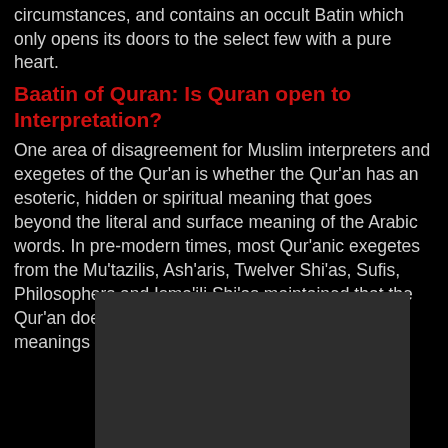circumstances, and contains an occult Batin which only opens its doors to the select few with a pure heart.
Baatin of Quran: Is Quran open to Interpretation?
One area of disagreement for Muslim interpreters and exegetes of the Qur'an is whether the Qur'an has an esoteric, hidden or spiritual meaning that goes beyond the literal and surface meaning of the Arabic words. In pre-modern times, most Qur'anic exegetes from the Mu'tazilis, Ash'aris, Twelver Shi'as, Sufis, Philosophers and Isma'ili Shi'as maintained that the Qur'an does indeed have hidden (batini) spiritual meanings and esoteric interpretations (ta'wil).
[Figure (photo): A dark rectangular image region, mostly dark gray/black, appearing to be an embedded photo or illustration.]